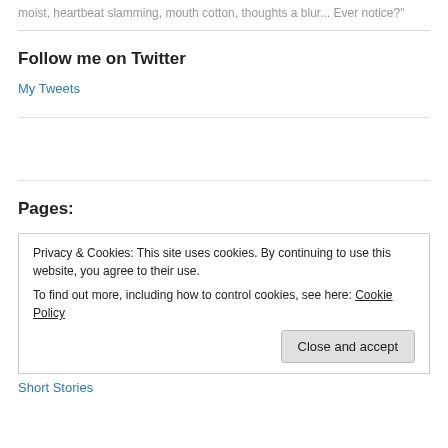moist, heartbeat slamming, mouth cotton, thoughts a blur... Ever notice?"
Follow me on Twitter
My Tweets
Pages:
Privacy & Cookies: This site uses cookies. By continuing to use this website, you agree to their use.
To find out more, including how to control cookies, see here: Cookie Policy
Close and accept
Short Stories